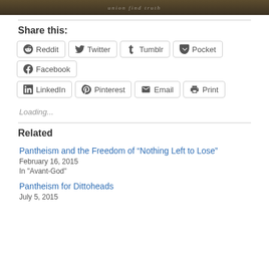[Figure (photo): Dark brown textured background image with faint italic text overlay]
Share this:
Reddit  Twitter  Tumblr  Pocket  Facebook  LinkedIn  Pinterest  Email  Print
Loading...
Related
Pantheism and the Freedom of “Nothing Left to Lose”
February 16, 2015
In "Avant-God"
Pantheism for Dittoheads
July 5, 2015